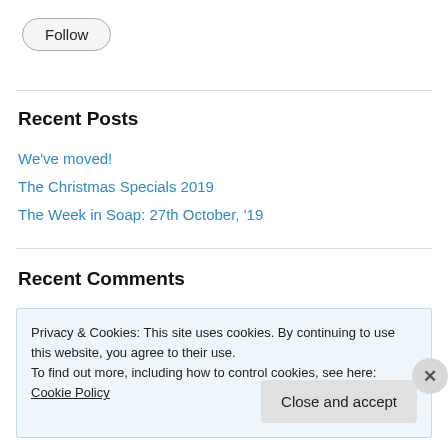Follow
Recent Posts
We've moved!
The Christmas Specials 2019
The Week in Soap: 27th October, '19
Recent Comments
Privacy & Cookies: This site uses cookies. By continuing to use this website, you agree to their use.
To find out more, including how to control cookies, see here: Cookie Policy
Close and accept